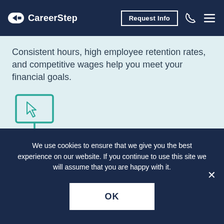CareerStep | Request Info
Consistent hours, high employee retention rates, and competitive wages help you meet your financial goals.
[Figure (illustration): Teal outline icon of a desktop computer monitor with a cursor arrow on screen, on a stand]
Exclusive training opportunity.
You won’t find a course or program like this anywhere else. This is a life-changing opportunity.
We use cookies to ensure that we give you the best experience on our website. If you continue to use this site we will assume that you are happy with it.